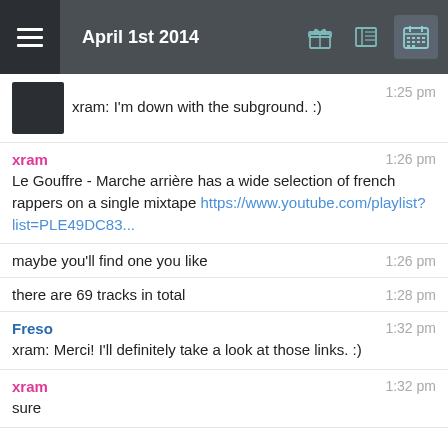April 1st 2014
xram: I'm down with the subground. :)  1:25 pm
xram  1:26 pm
Le Gouffre - Marche arrière has a wide selection of french rappers on a single mixtape https://www.youtube.com/playlist?list=PLE49DC83...
maybe you'll find one you like  1:26 pm
there are 69 tracks in total  1:28 pm
Freso  1:32 pm
xram: Merci! I'll definitely take a look at those links. :)
xram  1:32 pm
sure